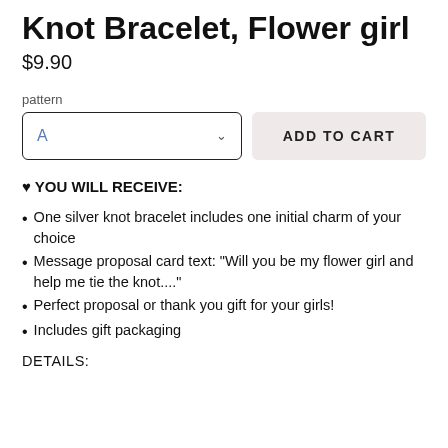Knot Bracelet, Flower girl
$9.90
pattern
A
ADD TO CART
♥ YOU WILL RECEIVE:
One silver knot bracelet includes one initial charm of your choice
Message proposal card text: "Will you be my flower girl and  help me tie the knot...."
Perfect proposal or thank you gift for your girls!
Includes gift packaging
DETAILS: